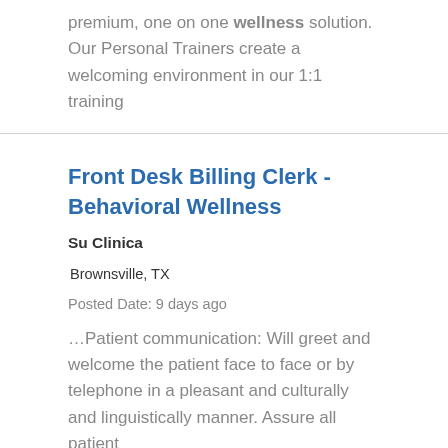premium, one on one wellness solution. Our Personal Trainers create a welcoming environment in our 1:1 training
Front Desk Billing Clerk - Behavioral Wellness
Su Clinica
Brownsville, TX
Posted Date: 9 days ago
…Patient communication: Will greet and welcome the patient face to face or by telephone in a pleasant and culturally and linguistically manner. Assure all patient